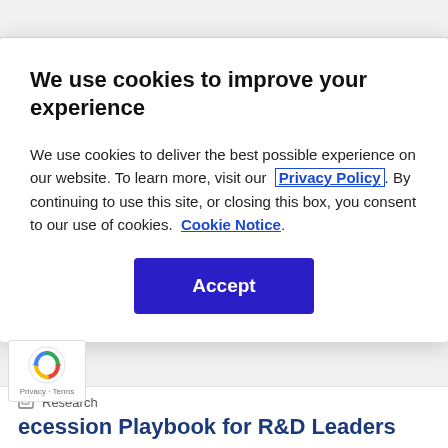Research
We use cookies to improve your experience
We use cookies to deliver the best possible experience on our website. To learn more, visit our  Privacy Policy . By continuing to use this site, or closing this box, you consent to our use of cookies.  Cookie Notice .
Accept
Research
ecession Playbook for R&D Leaders